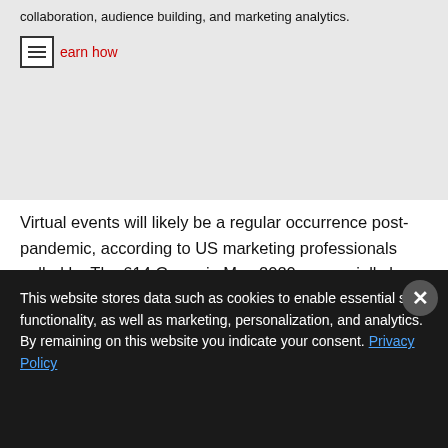collaboration, audience building, and marketing analytics.
Learn how
Virtual events will likely be a regular occurrence post-pandemic, according to US marketing professionals polled by The 614 Group in May 2020—especially large gatherings, including those that feature headliner speakers. Some marketers also believe that smaller gatherings will also become more frequent, at
This website stores data such as cookies to enable essential site functionality, as well as marketing, personalization, and analytics. By remaining on this website you indicate your consent. Privacy Policy